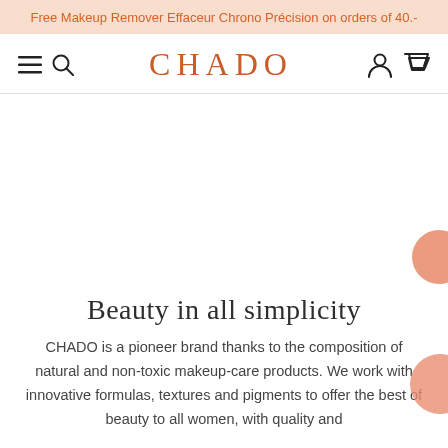Free Makeup Remover Effaceur Chrono Précision on orders of 40.-
CHADO
[Figure (other): Blank hero/banner image area]
Beauty in all simplicity
CHADO is a pioneer brand thanks to the composition of natural and non-toxic makeup-care products. We work with innovative formulas, textures and pigments to offer the best of beauty to all women, with quality and